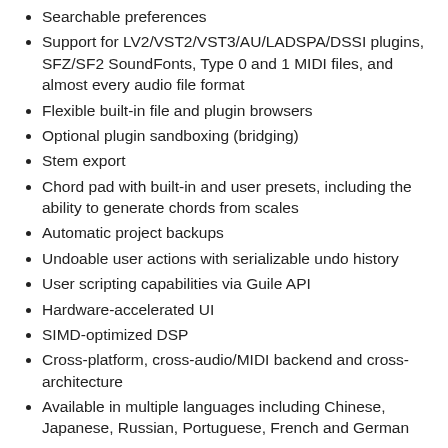Searchable preferences
Support for LV2/VST2/VST3/AU/LADSPA/DSSI plugins, SFZ/SF2 SoundFonts, Type 0 and 1 MIDI files, and almost every audio file format
Flexible built-in file and plugin browsers
Optional plugin sandboxing (bridging)
Stem export
Chord pad with built-in and user presets, including the ability to generate chords from scales
Automatic project backups
Undoable user actions with serializable undo history
User scripting capabilities via Guile API
Hardware-accelerated UI
SIMD-optimized DSP
Cross-platform, cross-audio/MIDI backend and cross-architecture
Available in multiple languages including Chinese, Japanese, Russian, Portuguese, French and German